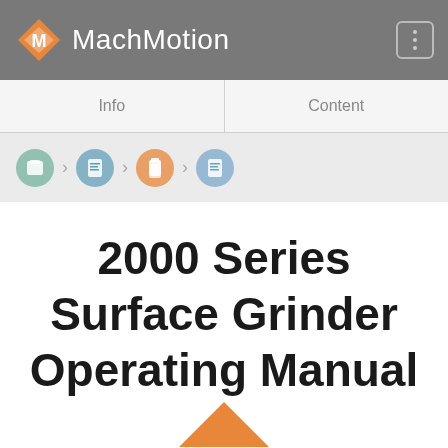MachMotion
Info | Content
[Figure (screenshot): Breadcrumb navigation icons: four circular icons connected by right-pointing chevrons]
2000 Series Surface Grinder Operating Manual